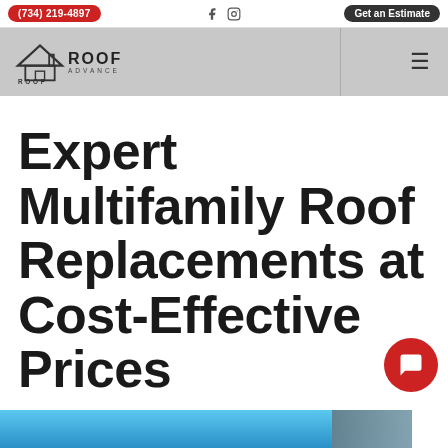(734) 219-4897  |  Facebook  |  Instagram  |  Get an Estimate
[Figure (logo): Roof Advance logo with roof/house icon and company name]
Expert Multifamily Roof Replacements at Cost-Effective Prices
Protect your investments with award-winning roofing services from Roof Advance.
[Figure (photo): Partial blue sky photo at bottom of page]